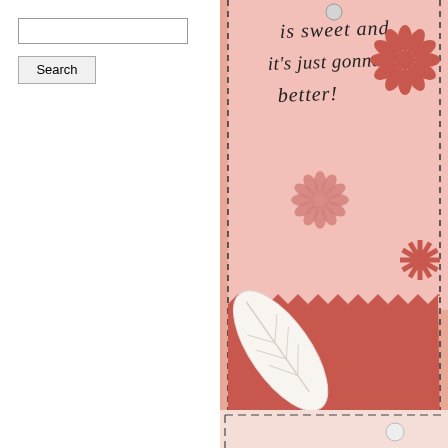[Figure (screenshot): Search input box and Search button for a website interface on left panel]
[Figure (photo): Handmade craft tag card in pink and red with handwritten text 'is sweet and it's just gonna get better!' decorated with flower die-cuts and a white leaf embellishment, dashed border stitching]
[Figure (photo): Bottom portion of another pink tag card with dashed border, partially visible]